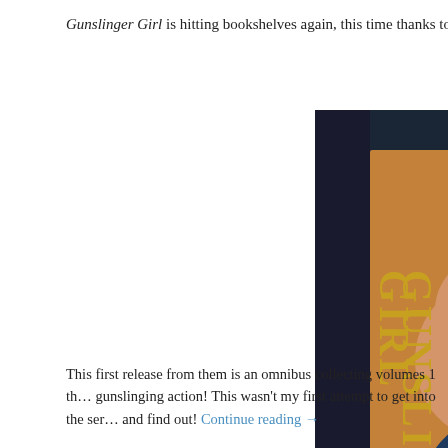Gunslinger Girl is hitting bookshelves again, this time thanks to S…
[Figure (illustration): Book cover of Gunslinger Girl Omnibus Collection 1 by Yu Aida. Anime-style blonde girl in a navy suit holding a rifle, with teddy bears in background, dark/black background.]
This first release from them is an omnibus collecting volumes 1 th… gunslinging action! This wasn't my first attempt to get into the ser… and find out! Continue reading →